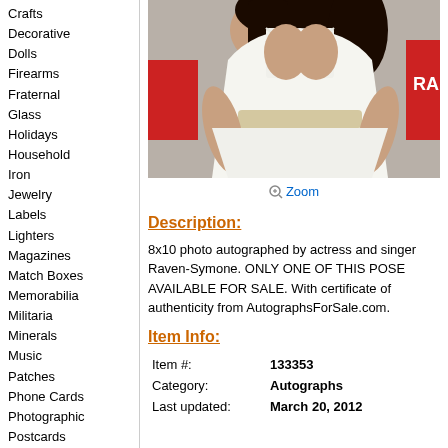Crafts
Decorative
Dolls
Firearms
Fraternal
Glass
Holidays
Household
Iron
Jewelry
Labels
Lighters
Magazines
Match Boxes
Memorabilia
Militaria
Minerals
Music
Patches
Phone Cards
Photographic
Postcards
Pottery & Glass
Shells
Space & Fantasy
Sports
Stamps
Stones
Tea bags
Toys
[Figure (photo): Photo of a woman in a white dress, cropped to show torso area]
Zoom
Description:
8x10 photo autographed by actress and singer Raven-Symone. ONLY ONE OF THIS POSE AVAILABLE FOR SALE. With certificate of authenticity from AutographsForSale.com.
Item Info:
| Field | Value |
| --- | --- |
| Item #: | 133353 |
| Category: | Autographs |
| Last updated: | March 20, 2012 |